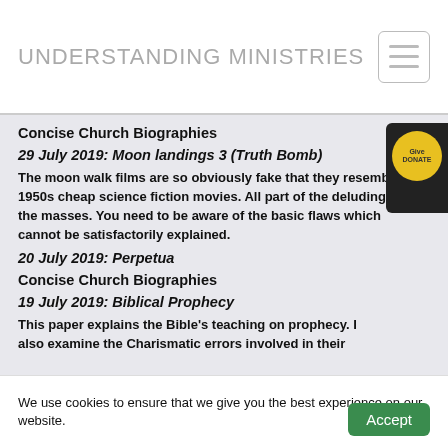UNDERSTANDING MINISTRIES
Concise Church Biographies
29 July 2019: Moon landings 3 (Truth Bomb)
The moon walk films are so obviously fake that they resemble 1950s cheap science fiction movies. All part of the deluding of the masses. You need to be aware of the basic flaws which cannot be satisfactorily explained.
20 July 2019: Perpetua
Concise Church Biographies
19 July 2019: Biblical Prophecy
This paper explains the Bible's teaching on prophecy. I also examine the Charismatic errors involved in their
We use cookies to ensure that we give you the best experience on our website.